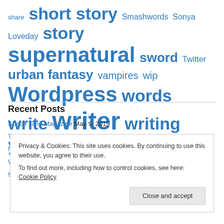share short story Smashwords Sonya Loveday story supernatural sword Twitter urban fantasy vampires wip Wordpress words write writer writing york
Recent Posts
Space Time Magazine May 9, 2019
The Autumnal Equinox approacheth…s? September 1, 2018
New Release! (Warning, contains adult content!) April 2, 2018
What it Takes – New Release! May 23, 2017
Short Stories and how to live with them March 7, 2017
Privacy & Cookies: This site uses cookies. By continuing to use this website, you agree to their use. To find out more, including how to control cookies, see here: Cookie Policy Close and accept